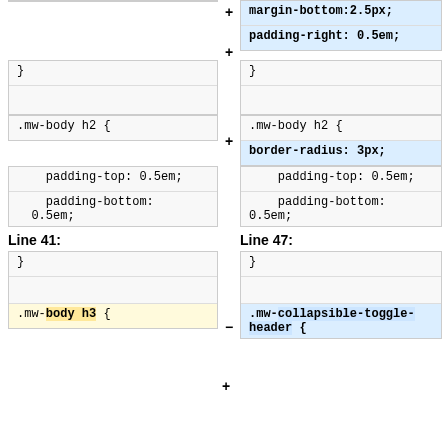+ margin-bottom:2.5px; (added, highlighted blue)
+ padding-right: 0.5em; (added, highlighted blue)
} (left col) } (right col)
.mw-body h2 { (left col) .mw-body h2 { (right col)
+ border-radius: 3px; (added, highlighted blue)
padding-top: 0.5em; (both cols)
padding-bottom: 0.5em; (both cols)
Line 41: (left) Line 47: (right)
} (both cols)
- .mw-body h3 { (left, removed, yellow highlight) + .mw-collapsible-toggle-header { (right, added, blue highlight)